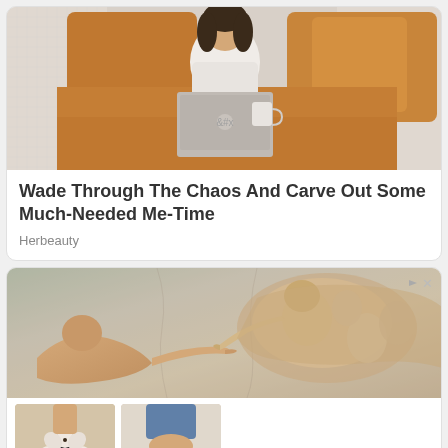[Figure (photo): Woman sitting in bed with orange/mustard bedding, wearing a white sweater, using a MacBook laptop, with decorative pillows in the background]
Wade Through The Chaos And Carve Out Some Much-Needed Me-Time
Herbeauty
[Figure (photo): Michelangelo's Creation of Adam fresco from the Sistine Chapel showing the famous touching hands scene, overlaid with a shoe advertisement showing women's sandals with flowers and bow detail, branded Berrylook]